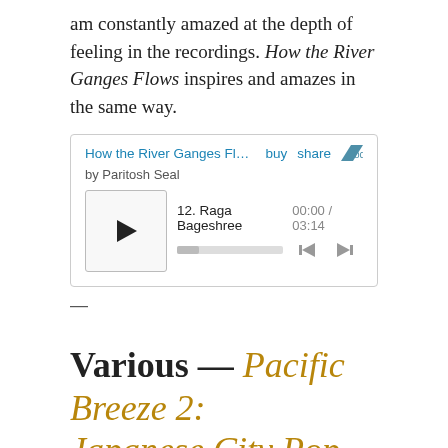am constantly amazed at the depth of feeling in the recordings. How the River Ganges Flows inspires and amazes in the same way.
[Figure (other): Bandcamp embedded music player showing 'How the River Ganges Flows: S...' by Paritosh Seal, track 12 Raga Bageshree, time 00:00 / 03:14, with play button and skip controls.]
—
Various — Pacific Breeze 2: Japanese City Pop, AOR & Boogie 1972–1986